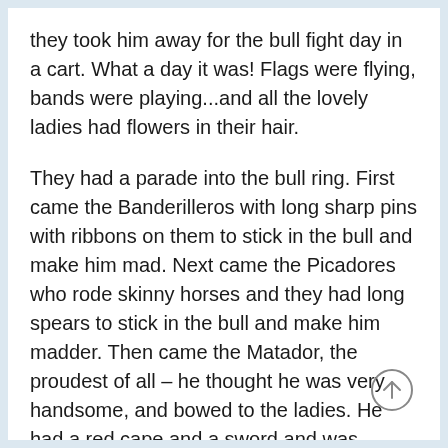they took him away for the bull fight day in a cart. What a day it was! Flags were flying, bands were playing...and all the lovely ladies had flowers in their hair.
They had a parade into the bull ring. First came the Banderilleros with long sharp pins with ribbons on them to stick in the bull and make him mad. Next came the Picadores who rode skinny horses and they had long spears to stick in the bull and make him madder. Then came the Matador, the proudest of all – he thought he was very handsome, and bowed to the ladies. He had a red cape and a sword and was supposed to stick the bull last of all.